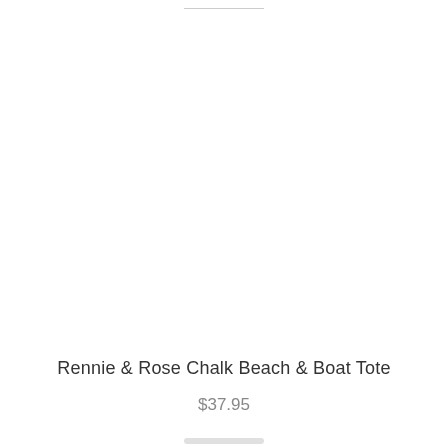Rennie & Rose Chalk Beach & Boat Tote
$37.95